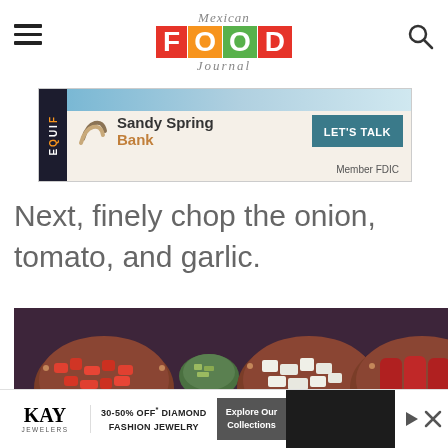Mexican FOOD Journal
[Figure (photo): Sandy Spring Bank advertisement banner with EQUIF branding, bank logo, LET'S TALK button, and Member FDIC text]
Next, finely chop the onion, tomato, and garlic.
[Figure (photo): Overhead photo of Mexican cooking ingredients in clay bowls: chopped red tomatoes on left, minced garlic in small green bowl center-left, chopped white onion in center, and red chorizo sausages on right, all on a dark surface]
[Figure (photo): Kay Jewelers advertisement: 30-50% OFF Diamond Fashion Jewelry, Explore Our Collections button, with person in background]